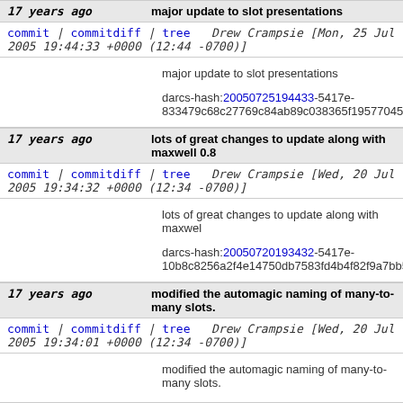17 years ago   major update to slot presentations
commit | commitdiff | tree   Drew Crampsie [Mon, 25 Jul 2005 19:44:33 +0000 (12:44 -0700)]
major update to slot presentations

darcs-hash:20050725194433-5417e-833479c68c27769c84ab89c038365f19577045d5...
17 years ago   lots of great changes to update along with maxwell 0.8
commit | commitdiff | tree   Drew Crampsie [Wed, 20 Jul 2005 19:34:32 +0000 (12:34 -0700)]
lots of great changes to update along with maxwell...

darcs-hash:20050720193432-5417e-10b8c8256a2f4e14750db7583fd4b4f82f9a7bb5.gz...
17 years ago   modified the automagic naming of many-to-many slots.
commit | commitdiff | tree   Drew Crampsie [Wed, 20 Jul 2005 19:34:01 +0000 (12:34 -0700)]
modified the automagic naming of many-to-many slots.